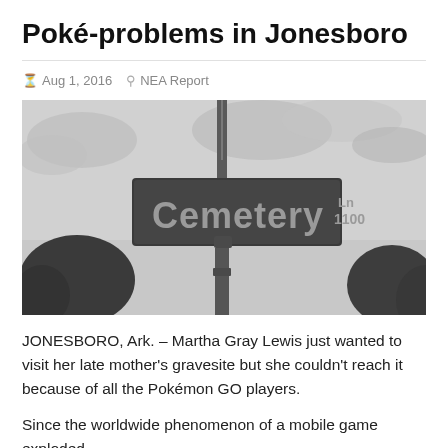Poké-problems in Jonesboro
Aug 1, 2016   NEA Report
[Figure (photo): Black and white photograph of a street sign reading 'Cemetery Ln 1100' mounted on a pole, with overcast sky and trees in the background.]
JONESBORO, Ark. – Martha Gray Lewis just wanted to visit her late mother's gravesite but she couldn't reach it because of all the Pokémon GO players.
Since the worldwide phenomenon of a mobile game exploded